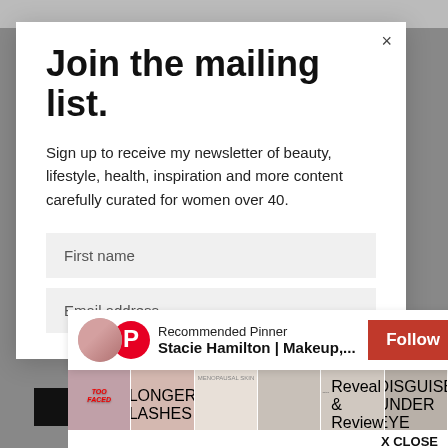Join the mailing list.
Sign up to receive my newsletter of beauty, lifestyle, health, inspiration and more content carefully curated for women over 40.
First name
Email address
Recommended Pinner
Stacie Hamilton | Makeup,...
Follow
X CLOSE